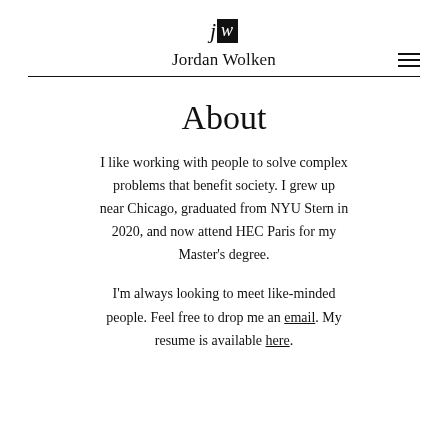[Figure (logo): JW logo: lowercase italic 'j' followed by 'w' in white on black square background]
Jordan Wolken
About
I like working with people to solve complex problems that benefit society. I grew up near Chicago, graduated from NYU Stern in 2020, and now attend HEC Paris for my Master's degree.
I'm always looking to meet like-minded people. Feel free to drop me an email. My resume is available here.